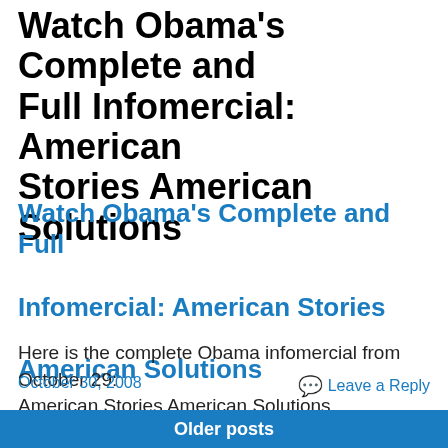Watch Obama's Complete and Full Infomercial: American Stories American Solutions
Watch Obama's Complete and Full Infomercial: American Stories American Solutions
Here is the complete Obama infomercial from October 29: American Stories American Solutions
October 30, 2008
Leave a Reply
Older posts